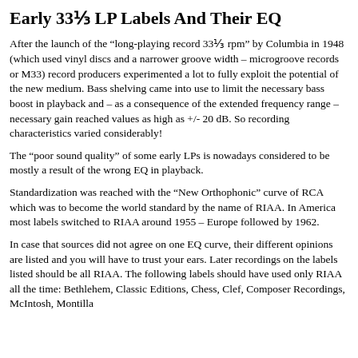Early 33⅓ LP Labels And Their EQ
After the launch of the “long-playing record 33⅓ rpm” by Columbia in 1948 (which used vinyl discs and a narrower groove width – microgroove records or M33) record producers experimented a lot to fully exploit the potential of the new medium. Bass shelving came into use to limit the necessary bass boost in playback and – as a consequence of the extended frequency range – necessary gain reached values as high as +/- 20 dB. So recording characteristics varied considerably!
The “poor sound quality” of some early LPs is nowadays considered to be mostly a result of the wrong EQ in playback.
Standardization was reached with the “New Orthophonic” curve of RCA which was to become the world standard by the name of RIAA. In America most labels switched to RIAA around 1955 – Europe followed by 1962.
In case that sources did not agree on one EQ curve, their different opinions are listed and you will have to trust your ears. Later recordings on the labels listed should be all RIAA. The following labels should have used only RIAA all the time: Bethlehem, Classic Editions, Chess, Clef, Composer Recordings, McIntosh, Montilla